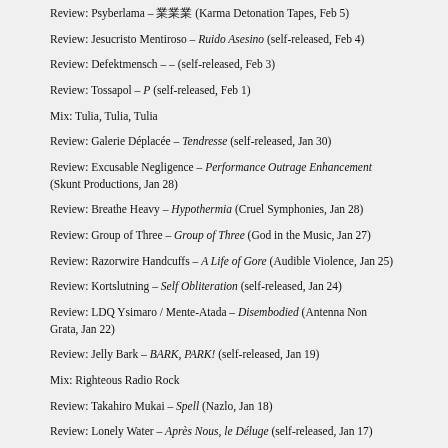Review: Psyberlama – 業業業 (Karma Detonation Tapes, Feb 5)
Review: Jesucristo Mentiroso – Ruido Asesino (self-released, Feb 4)
Review: Defektmensch – – (self-released, Feb 3)
Review: Tossapol – P (self-released, Feb 1)
Mix: Tulia, Tulia, Tulia
Review: Galerie Déplacée – Tendresse (self-released, Jan 30)
Review: Excusable Negligence – Performance Outrage Enhancement (Skunt Productions, Jan 28)
Review: Breathe Heavy – Hypothermia (Cruel Symphonies, Jan 28)
Review: Group of Three – Group of Three (God in the Music, Jan 27)
Review: Razorwire Handcuffs – A Life of Gore (Audible Violence, Jan 25)
Review: Kortslutning – Self Obliteration (self-released, Jan 24)
Review: LDQ Ysimaro / Mente-Atada – Disembodied (Antenna Non Grata, Jan 22)
Review: Jelly Bark – BARK, PARK! (self-released, Jan 19)
Mix: Righteous Radio Rock
Review: Takahiro Mukai – Spell (Nazlo, Jan 18)
Review: Lonely Water – Après Nous, le Déluge (self-released, Jan 17)
Review: Tetuzi Akiyama & John Kraushauer – Gift (Erototox Decodings, Jan 15)